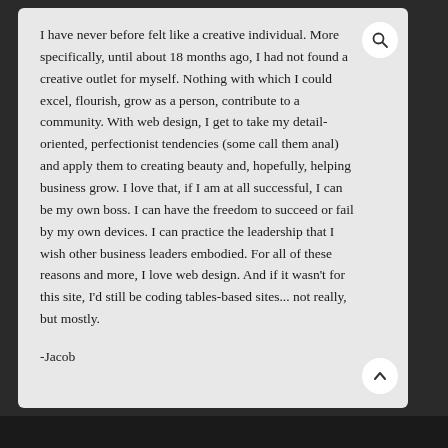I have never before felt like a creative individual. More specifically, until about 18 months ago, I had not found a creative outlet for myself. Nothing with which I could excel, flourish, grow as a person, contribute to a community. With web design, I get to take my detail-oriented, perfectionist tendencies (some call them anal) and apply them to creating beauty and, hopefully, helping business grow. I love that, if I am at all successful, I can be my own boss. I can have the freedom to succeed or fail by my own devices. I can practice the leadership that I wish other business leaders embodied. For all of these reasons and more, I love web design. And if it wasn't for this site, I'd still be coding tables-based sites... not really, but mostly.
-Jacob